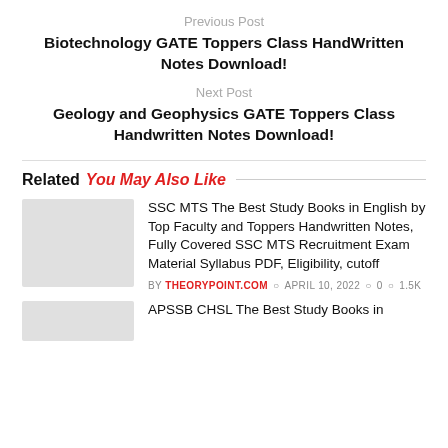Previous Post
Biotechnology GATE Toppers Class HandWritten Notes Download!
Next Post
Geology and Geophysics GATE Toppers Class Handwritten Notes Download!
Related You May Also Like
SSC MTS The Best Study Books in English by Top Faculty and Toppers Handwritten Notes, Fully Covered SSC MTS Recruitment Exam Material Syllabus PDF, Eligibility, cutoff
BY THEORYPOINT.COM  APRIL 10, 2022  0  1.5K
APSSB CHSL The Best Study Books in